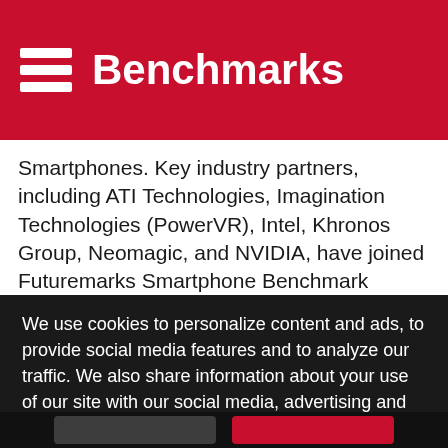Benchmarks
Smartphones. Key industry partners, including ATI Technologies, Imagination Technologies (PowerVR), Intel, Khronos Group, Neomagic, and NVIDIA, have joined Futuremark’s Smartphone Benchmark Development Program.
  Increasingly, the application performance of a mobile phone is becoming an important criteria for consumers in the purchasing decision process”, said Tero Sarkkinen, Executive Vice President of Sales and Marketing for Futuremark. “Power efficiency is a tightly coined factor, and it is important to measure how much power different phones consume when running today’s and tomorrow’s
We use cookies to personalize content and ads, to provide social media features and to analyze our traffic. We also share information about your use of our site with our social media, advertising and analytics partners.